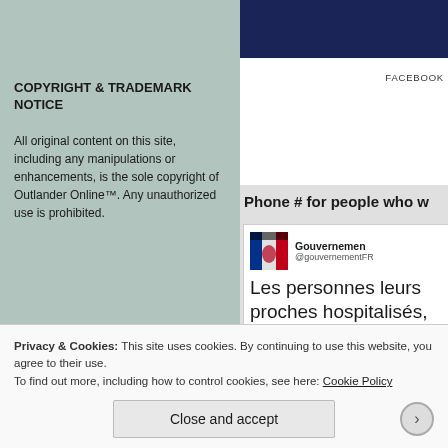COPYRIGHT & TRADEMARK NOTICE
All original content on this site, including any manipulations or enhancements, is the sole copyright of Outlander Online™. Any unauthorized use is prohibited.
Select Language (dropdown) — Powered by Google Translate
•
FACEBOOK
Phone # for people who w
[Figure (screenshot): Tweet from @gouvernementFR (Gouvernement) with French flag logo. Tweet text: Les personnes leurs proches hospitalisés, p]
Privacy & Cookies: This site uses cookies. By continuing to use this website, you agree to their use.
To find out more, including how to control cookies, see here: Cookie Policy
Close and accept